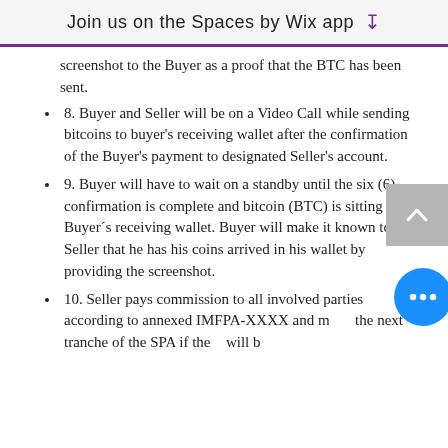Join us on the Spaces by Wix app
screenshot to the Buyer as a proof that the BTC has been sent.
8. Buyer and Seller will be on a Video Call while sending bitcoins to buyer's receiving wallet after the confirmation of the Buyer's payment to designated Seller's account.
9. Buyer will have to wait on a standby until the six (6) confirmation is complete and bitcoin (BTC) is sitting in Buyer´s receiving wallet. Buyer will make it known to the Seller that he has his coins arrived in his wallet by providing the screenshot.
10. Seller pays commission to all involved parties according to annexed IMFPA-XXXX and move the next tranche of the SPA if there will be one.